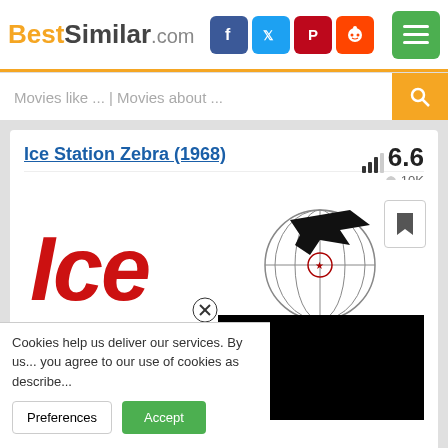BestSimilar.com
Movies like ... | Movies about ...
Ice Station Zebra (1968)
6.6 rating, 10K likes
[Figure (screenshot): Movie poster for Ice Station Zebra (1968) showing large red italic text 'Ice Station Zebra' with a globe and military aircraft graphic]
Cookies help us deliver our services. By us... you agree to our use of cookies as describe...
Preferences | Accept